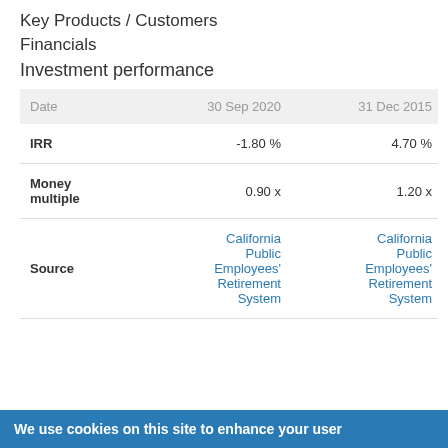Key Products / Customers
Financials
Investment performance
| Date | 30 Sep 2020 | 31 Dec 2015 |
| --- | --- | --- |
| IRR | -1.80 % | 4.70 % |
| Money multiple | 0.90 x | 1.20 x |
| Source | California Public Employees' Retirement System | California Public Employees' Retirement System |
We use cookies on this site to enhance your user